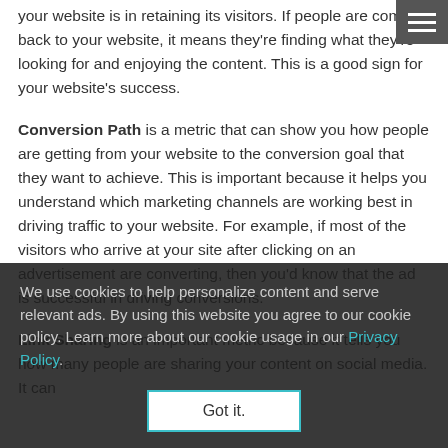your website is in retaining its visitors. If people are coming back to your website, it means they're finding what they're looking for and enjoying the content. This is a good sign for your website's success.
Conversion Path is a metric that can show you how people are getting from your website to the conversion goal that they want to achieve. This is important because it helps you understand which marketing channels are working best in driving traffic to your website. For example, if most of the visitors who arrive at your site after clicking on an advertisement are converting, then you'd know that the ad is successful in driving conversions.
Link Sharing is an important metric because it tells you how many people are sharing your content on social media. It can
We use cookies to help personalize content and serve relevant ads. By using this website you agree to our cookie policy. Learn more about our cookie usage in our Privacy Policy.
Got it.